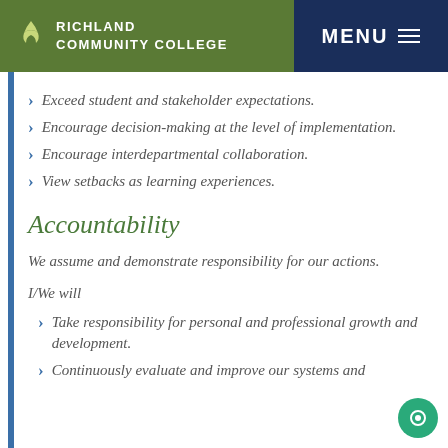RICHLAND COMMUNITY COLLEGE | MENU
Exceed student and stakeholder expectations.
Encourage decision-making at the level of implementation.
Encourage interdepartmental collaboration.
View setbacks as learning experiences.
Accountability
We assume and demonstrate responsibility for our actions.
I/We will
Take responsibility for personal and professional growth and development.
Continuously evaluate and improve our systems and